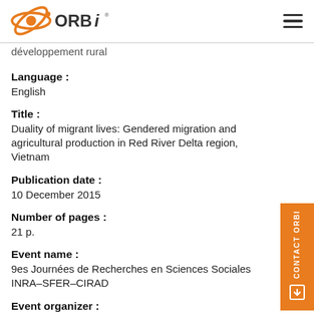ORBi logo and navigation
développement rural
Language :
English
Title :
Duality of migrant lives: Gendered migration and agricultural production in Red River Delta region, Vietnam
Publication date :
10 December 2015
Number of pages :
21 p.
Event name :
9es Journées de Recherches en Sciences Sociales INRA–SFER–CIRAD
Event organizer :
Institut National de Recherche Agronomique (INRA) Société Française d'Economie Rurale (SFER)